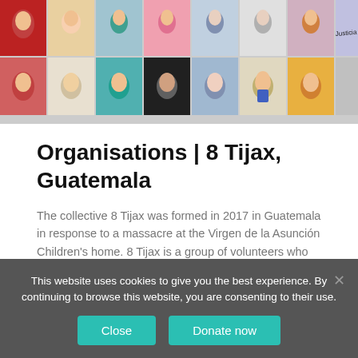[Figure (illustration): A collage of colorful illustrated and drawn portraits of women and girls arranged in two rows across the top of the page.]
Organisations | 8 Tijax, Guatemala
The collective 8 Tijax was formed in 2017 in Guatemala in response to a massacre at the Virgen de la Asunción Children's home. 8 Tijax is a group of volunteers who work with the families of victims and survivors and support their campaigns for justice in the courts.
Latin America Bureau
This website uses cookies to give you the best experience. By continuing to browse this website, you are consenting to their use.